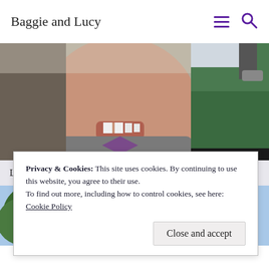Baggie and Lucy
[Figure (photo): Close-up photo of a child smiling, wearing a gray hoodie, appearing to be very close to the camera]
[Figure (photo): Outdoor photo showing green rubber playground surface with a person's feet visible]
Like my hat?
Is this what you
[Figure (photo): Photo of a curved white building roof/portico against a blue sky with green trees]
Privacy & Cookies: This site uses cookies. By continuing to use this website, you agree to their use.
To find out more, including how to control cookies, see here:
Cookie Policy
Close and accept